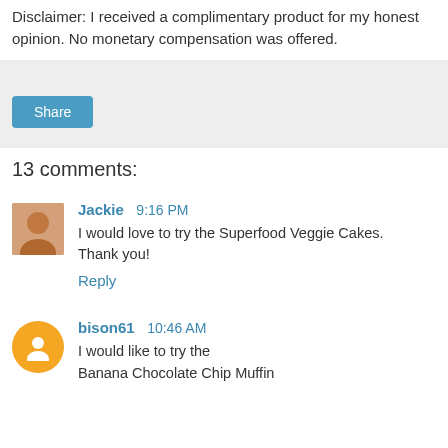Disclaimer: I received a complimentary product for my honest opinion. No monetary compensation was offered.
[Figure (screenshot): Gray share box with a blue Share button]
13 comments:
Jackie  9:16 PM
I would love to try the Superfood Veggie Cakes. Thank you!
Reply
bison61  10:46 AM
I would like to try the Banana Chocolate Chip Muffin